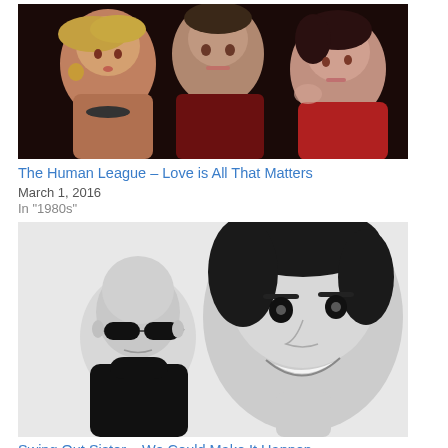[Figure (photo): Color photo of three people (The Human League): a blonde woman on the left, a man in the center, and a dark-haired woman on the right, against a dark background.]
The Human League – Love is All That Matters
March 1, 2016
In "1980s"
[Figure (photo): Black and white photo of two people (Swing Out Sister): a bald man with sunglasses on the left and a dark-haired woman smiling on the right.]
Swing Out Sister – We Could Make It Happen